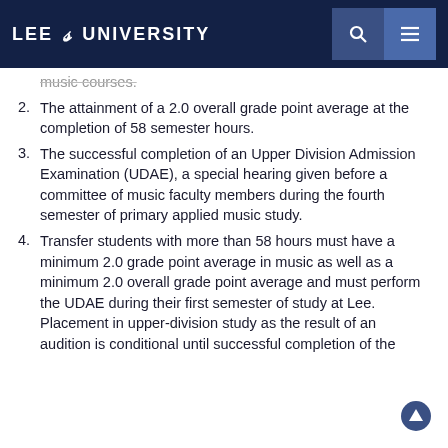LEE UNIVERSITY
music courses.
2. The attainment of a 2.0 overall grade point average at the completion of 58 semester hours.
3. The successful completion of an Upper Division Admission Examination (UDAE), a special hearing given before a committee of music faculty members during the fourth semester of primary applied music study.
4. Transfer students with more than 58 hours must have a minimum 2.0 grade point average in music as well as a minimum 2.0 overall grade point average and must perform the UDAE during their first semester of study at Lee. Placement in upper-division study as the result of an audition is conditional until successful completion of the